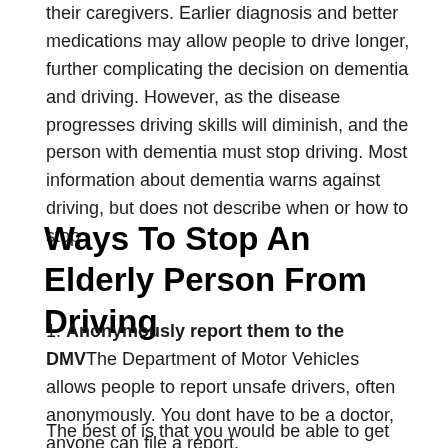their caregivers. Earlier diagnosis and better medications may allow people to drive longer, further complicating the decision on dementia and driving. However, as the disease progresses driving skills will diminish, and the person with dementia must stop driving. Most information about dementia warns against driving, but does not describe when or how to stop.
Ways To Stop An Elderly Person From Driving
1. Anonymously report them to the DMV The Department of Motor Vehicles allows people to report unsafe drivers, often anonymously. You dont have to be a doctor, anyone can file a report.
The best of is that you would be able to get the car or for at...